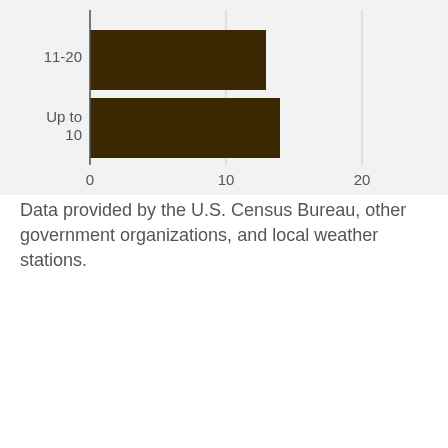[Figure (bar-chart): ]
Data provided by the U.S. Census Bureau, other government organizations, and local weather stations.